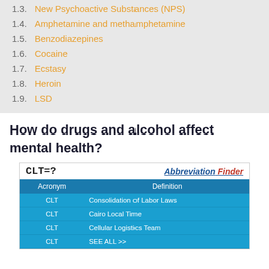1.3.  New Psychoactive Substances (NPS)
1.4.  Amphetamine and methamphetamine
1.5.  Benzodiazepines
1.6.  Cocaine
1.7.  Ecstasy
1.8.  Heroin
1.9.  LSD
How do drugs and alcohol affect mental health?
[Figure (screenshot): Advertisement for Abbreviation Finder showing CLT=? with a table listing acronym CLT with definitions: Consolidation of Labor Laws, Cairo Local Time, Cellular Logistics Team, SEE ALL >>]
| Acronym | Definition |
| --- | --- |
| CLT | Consolidation of Labor Laws |
| CLT | Cairo Local Time |
| CLT | Cellular Logistics Team |
| CLT | SEE ALL >> |